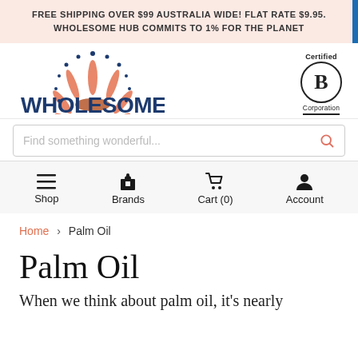FREE SHIPPING OVER $99 AUSTRALIA WIDE! FLAT RATE $9.95. WHOLESOME HUB COMMITS TO 1% FOR THE PLANET
[Figure (logo): Wholesome Hub logo: sunburst/flower SVG graphic above the text WHOLESOME HUB in dark navy blue, with Certified B Corporation badge on the right]
Find something wonderful...
Shop
Brands
Cart (0)
Account
Home > Palm Oil
Palm Oil
When we think about palm oil, it's nearly